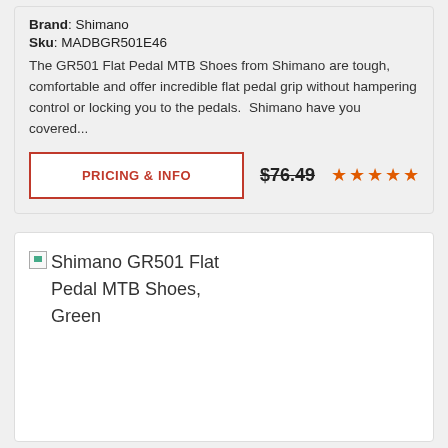Brand: Shimano
Sku: MADBGR501E46
The GR501 Flat Pedal MTB Shoes from Shimano are tough, comfortable and offer incredible flat pedal grip without hampering control or locking you to the pedals.  Shimano have you covered...
PRICING & INFO
$76.49
[Figure (other): Shimano GR501 Flat Pedal MTB Shoes, Green — broken image placeholder with green triangle icon and alt text label]